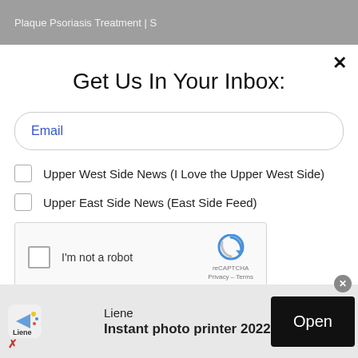Plaque Psoriasis Treatment | S...
Get Us In Your Inbox:
Email
Upper West Side News (I Love the Upper West Side)
Upper East Side News (East Side Feed)
[Figure (screenshot): reCAPTCHA widget with checkbox, 'I'm not a robot' text, and reCAPTCHA logo with Privacy - Terms links]
[Figure (screenshot): Advertisement banner for Liene with logo, 'Instant photo printer 2022' text, and Open button]